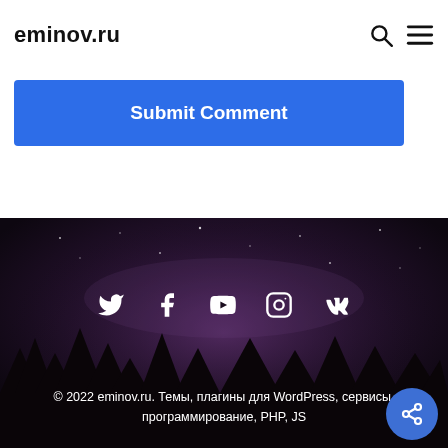eminov.ru
Submit Comment
[Figure (screenshot): Dark night sky with trees silhouette footer background]
[Figure (infographic): Social media icons row: Twitter, Facebook, YouTube, Instagram, VK]
© 2022 eminov.ru. Темы, плагины для WordPress, сервисы, программирование, PHP, JS